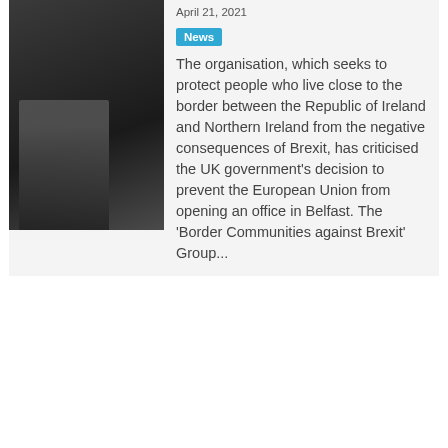[Figure (photo): Thumbnail photo showing people near a border area, dark background]
April 21, 2021
News
The organisation, which seeks to protect people who live close to the border between the Republic of Ireland and Northern Ireland from the negative consequences of Brexit, has criticised the UK government’s decision to prevent the European Union from opening an office in Belfast. The ‘Border Communities against Brexit’ Group...